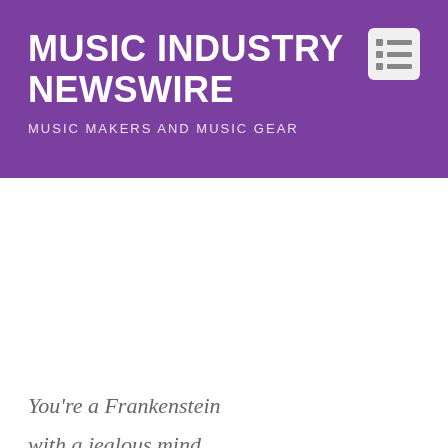MUSIC INDUSTRY NEWSWIRE
MUSIC MAKERS AND MUSIC GEAR
You're a Frankenstein
with a jealous mind
its time to pick up the torches
and chase you down
gonna burn you to the ground
and scatter your ashes